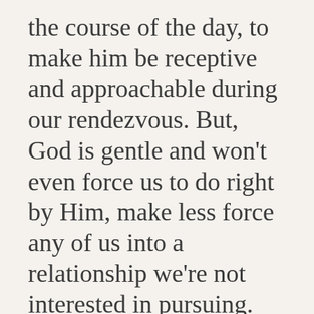the course of the day, to make him be receptive and approachable during our rendezvous. But, God is gentle and won't even force us to do right by Him, make less force any of us into a relationship we're not interested in pursuing.
Privacy & Cookies: This site uses cookies. By continuing to use this website, you agree to their use.
To find out more, including how to control cookies, see here:
Cookie Policy
[Close and accept]
With all that said, I just knew after